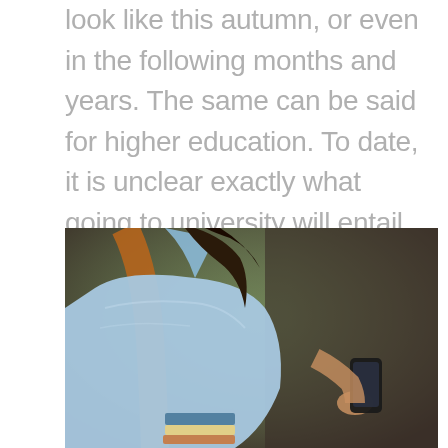look like this autumn, or even in the following months and years. The same can be said for higher education. To date, it is unclear exactly what going to university will entail and how students will be able to interact with their peers and lecturers. To help, we've put together what students might expect from university post-lockdown.
[Figure (photo): A young female student from behind/side, wearing a light blue shirt and carrying a brown backpack and books, holding a smartphone, with a blurred green outdoor background.]